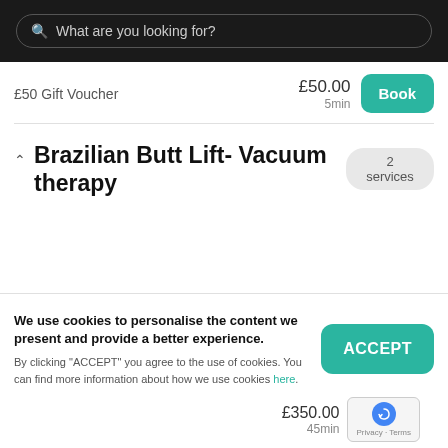[Figure (screenshot): Search bar with dark background, showing placeholder text 'What are you looking for?']
£50 Gift Voucher
£50.00
5min
Book
Brazilian Butt Lift- Vacuum therapy
2 services
We use cookies to personalise the content we present and provide a better experience.
By clicking "ACCEPT" you agree to the use of cookies. You can find more information about how we use cookies here.
ACCEPT
£350.00
45min
Privacy · Terms